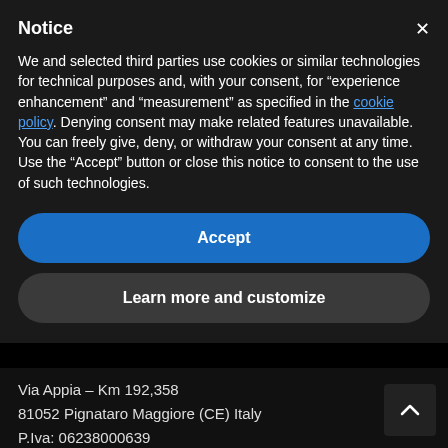Notice
We and selected third parties use cookies or similar technologies for technical purposes and, with your consent, for “experience enhancement” and “measurement” as specified in the cookie policy. Denying consent may make related features unavailable.
You can freely give, deny, or withdraw your consent at any time.
Use the “Accept” button or close this notice to consent to the use of such technologies.
Accept
Learn more and customize
Via Appia – Km 192,358
81052 Pignataro Maggiore (CE) Italy
P.Iva: 06238000639